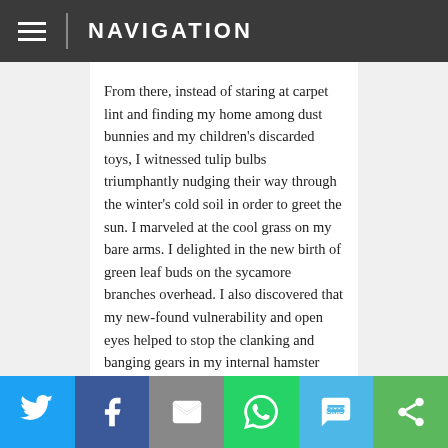NAVIGATION
From there, instead of staring at carpet lint and finding my home among dust bunnies and my children’s discarded toys, I witnessed tulip bulbs triumphantly nudging their way through the winter’s cold soil in order to greet the sun. I marveled at the cool grass on my bare arms. I delighted in the new birth of green leaf buds on the sycamore branches overhead. I also discovered that my new-found vulnerability and open eyes helped to stop the clanking and banging gears in my internal hamster wheel and allowed my mind to just shut the hell up. But most importantly, I learned what it felt like to be grounded and